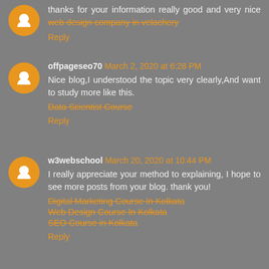thanks for your information really good and very nice web design company in velachery
Reply
offpageseo70  March 2, 2020 at 6:28 PM
Nice blog,I understood the topic very clearly,And want to study more like this.
Data Scientist Course
Reply
w3webschool  March 20, 2020 at 10:44 PM
I really appreciate your method to explaining, I hope to see more posts from your blog. thank you!
Digital Marketing Course In Kolkata
Web Design Course In Kolkata
SEO Course in Kolkata
Reply